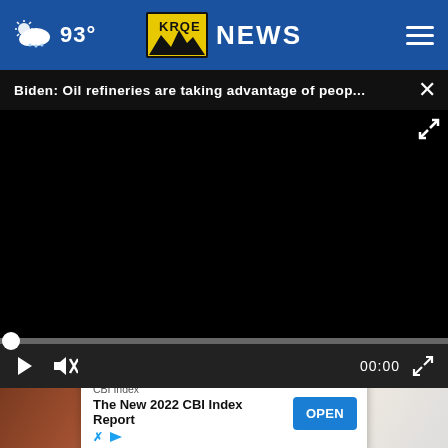93° KRQE NEWS
Biden: Oil refineries are taking advantage of peop... ×
[Figure (screenshot): Black video player area with playback controls, progress bar at start (00:00), play button, mute button, and fullscreen button]
[Figure (photo): Partial thumbnail image below video player showing musical instruments (appears to be a cello/violin) and a pink cylindrical object]
CBI Index
The New 2022 CBI Index Report
OPEN